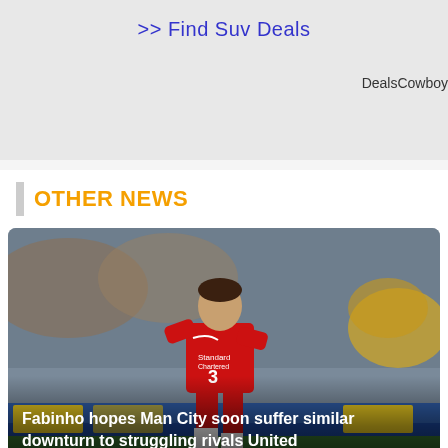>> Find Suv Deals
DealsCowboy
OTHER NEWS
[Figure (photo): Liverpool player wearing red jersey number 3 (Fabinho) running on football pitch during a match, crowd visible in background]
Fabinho hopes Man City soon suffer similar downturn to struggling rivals United